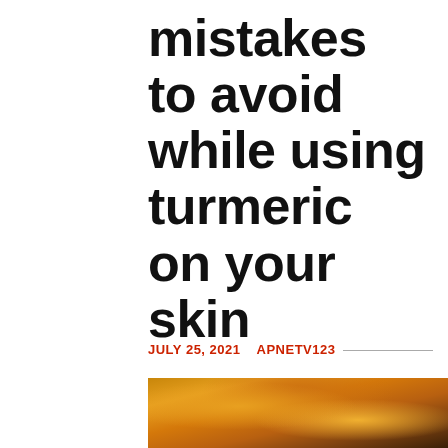mistakes to avoid while using turmeric on your skin
JULY 25, 2021   APNETV123
[Figure (photo): Close-up photo of turmeric roots/pieces showing orange-yellow color]